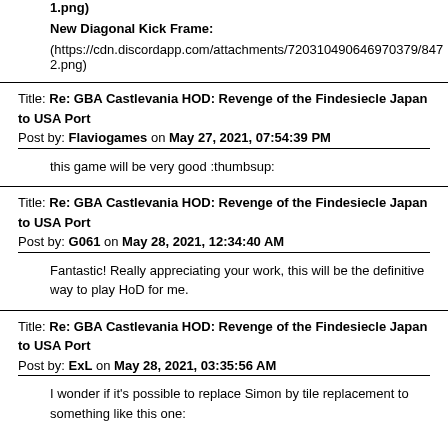(…1.png)
New Diagonal Kick Frame:
(https://cdn.discordapp.com/attachments/720310490646970379/847…2.png)
Title: Re: GBA Castlevania HOD: Revenge of the Findesiecle Japan to USA Port
Post by: Flaviogames on May 27, 2021, 07:54:39 PM
this game will be very good :thumbsup:
Title: Re: GBA Castlevania HOD: Revenge of the Findesiecle Japan to USA Port
Post by: G061 on May 28, 2021, 12:34:40 AM
Fantastic! Really appreciating your work, this will be the definitive way to play HoD for me.
Title: Re: GBA Castlevania HOD: Revenge of the Findesiecle Japan to USA Port
Post by: ExL on May 28, 2021, 03:35:56 AM
I wonder if it's possible to replace Simon by tile replacement to something like this one: